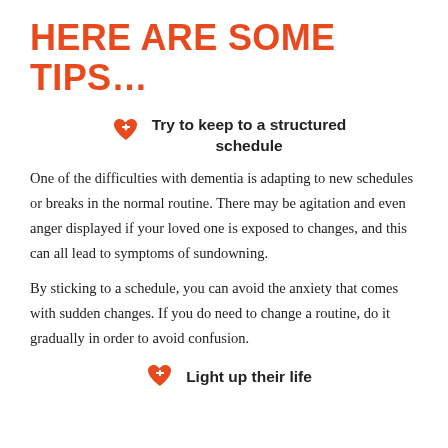HERE ARE SOME TIPS…
Try to keep to a structured schedule
One of the difficulties with dementia is adapting to new schedules or breaks in the normal routine. There may be agitation and even anger displayed if your loved one is exposed to changes, and this can all lead to symptoms of sundowning.
By sticking to a schedule, you can avoid the anxiety that comes with sudden changes. If you do need to change a routine, do it gradually in order to avoid confusion.
Light up their life